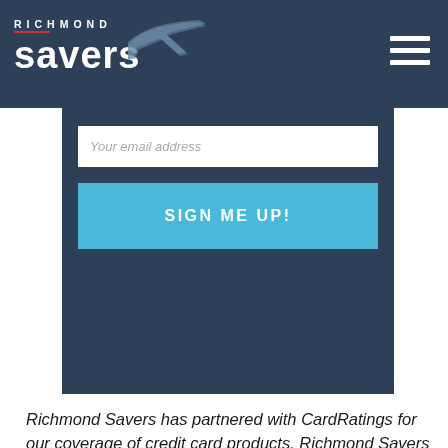RICHMOND savers
[Figure (screenshot): Email signup form with 'Your email address' input field and 'SIGN ME UP!' button on dark blue background]
Richmond Savers has partnered with CardRatings for our coverage of credit card products. Richmond Savers and CardRatings may receive a commission from card issuers.
Filed Under: Credit Cards